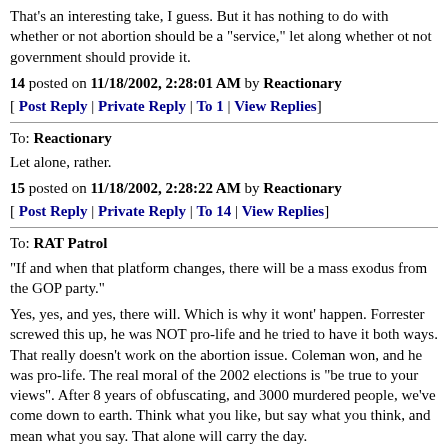That's an interesting take, I guess. But it has nothing to do with whether or not abortion should be a "service," let along whether ot not government should provide it.
14 posted on 11/18/2002, 2:28:01 AM by Reactionary
[ Post Reply | Private Reply | To 1 | View Replies]
To: Reactionary
Let alone, rather.
15 posted on 11/18/2002, 2:28:22 AM by Reactionary
[ Post Reply | Private Reply | To 14 | View Replies]
To: RAT Patrol
"If and when that platform changes, there will be a mass exodus from the GOP party."
Yes, yes, and yes, there will. Which is why it wont' happen. Forrester screwed this up, he was NOT pro-life and he tried to have it both ways. That really doesn't work on the abortion issue. Coleman won, and he was pro-life. The real moral of the 2002 elections is "be true to your views". After 8 years of obfuscating, and 3000 murdered people, we've come down to earth. Think what you like, but say what you think, and mean what you say. That alone will carry the day.